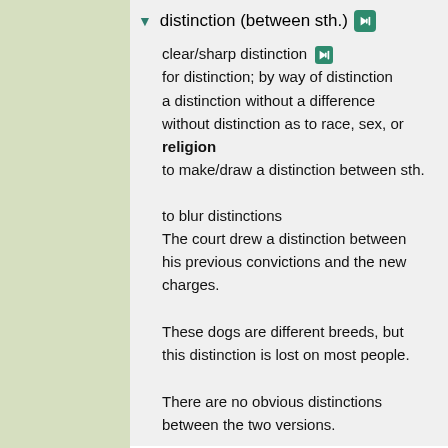distinction (between sth.)
clear/sharp distinction
for distinction; by way of distinction
a distinction without a difference
without distinction as to race, sex, or religion
to make/draw a distinction between sth.

to blur distinctions
The court drew a distinction between his previous convictions and the new charges.

These dogs are different breeds, but this distinction is lost on most people.

There are no obvious distinctions between the two versions.
uneasy
an uneasy relationship between sb.
to have an uneasy relationship with religion